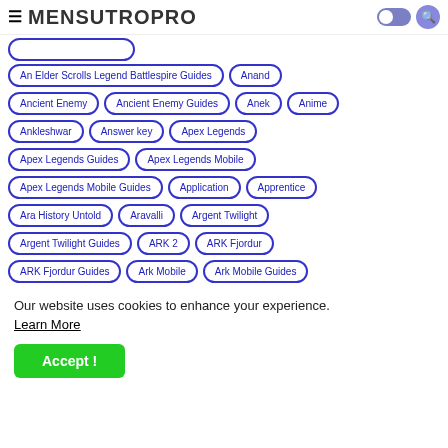MENSUTROPRO
An Elder Scrolls Legend Battlespire Guides
Anand
Ancient Enemy
Ancient Enemy Guides
Anek
Anime
Ankleshwar
Answer key
Apex Legends
Apex Legends Guides
Apex Legends Mobile
Apex Legends Mobile Guides
Application
Apprentice
Ara History Untold
Aravalli
Argent Twilight
Argent Twilight Guides
ARK 2
ARK Fjordur
ARK Fjordur Guides
Ark Mobile
Ark Mobile Guides
Our website uses cookies to enhance your experience. Learn More
Accept !